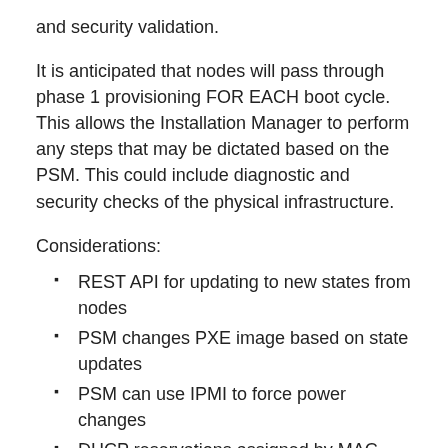and security validation.
It is anticipated that nodes will pass through phase 1 provisioning FOR EACH boot cycle. This allows the Installation Manager to perform any steps that may be dictated based on the PSM. This could include diagnostic and security checks of the physical infrastructure.
Considerations:
REST API for updating to new states from nodes
PSM changes PXE image based on state updates
PSM can use IPMI to force power changes
DHCP reservations assigned by MAC after discovery so nodes have a predictable IP
Phase 1 images may change IP addresses during this phase.